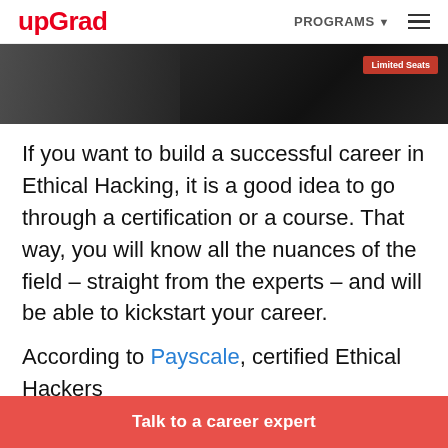upGrad | PROGRAMS ☰
[Figure (photo): Dark background hero image with a person visible on the left side, and a red 'Limited Seats' badge in the top right corner.]
If you want to build a successful career in Ethical Hacking, it is a good idea to go through a certification or a course. That way, you will know all the nuances of the field – straight from the experts – and will be able to kickstart your career.
According to Payscale, certified Ethical Hackers earn an average salary of $95,974. Th…
Talk to a career expert